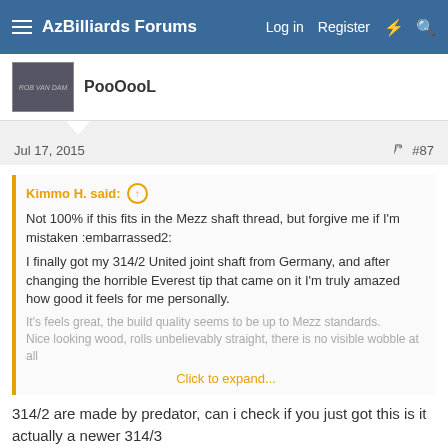AzBilliards Forums | Log in | Register
PooOooL
Jul 17, 2015  #87
Kimmo H. said: Not 100% if this fits in the Mezz shaft thread, but forgive me if I'm mistaken :embarrassed2:

I finally got my 314/2 United joint shaft from Germany, and after changing the horrible Everest tip that came on it I'm truly amazed how good it feels for me personally.
It's feels great, the build quality seems to be up to Mezz standards.
Nice looking wood, rolls unbelievably straight, there is no visible wobble at all
Click to expand...
314/2 are made by predator, can i check if you just got this is it actually a newer 314/3
[Figure (photo): 314-3radial.jpg image placeholder]